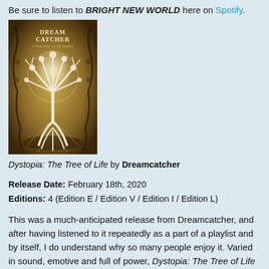Be sure to listen to BRIGHT NEW WORLD here on Spotify.
[Figure (photo): Album cover for Dystopia: The Tree of Life by Dreamcatcher. Dark golden-brown background with ornate floral/vine decorations and a white glowing tree with roots design. Text reads DREAM CATCHER at top.]
Dystopia: The Tree of Life by Dreamcatcher
Release Date: February 18th, 2020
Editions: 4 (Edition E / Edition V / Edition I / Edition L)
This was a much-anticipated release from Dreamcatcher, and after having listened to it repeatedly as a part of a playlist and by itself, I do understand why so many people enjoy it. Varied in sound, emotive and full of power, Dystopia: The Tree of Life is an incredible trip that will take you on a...